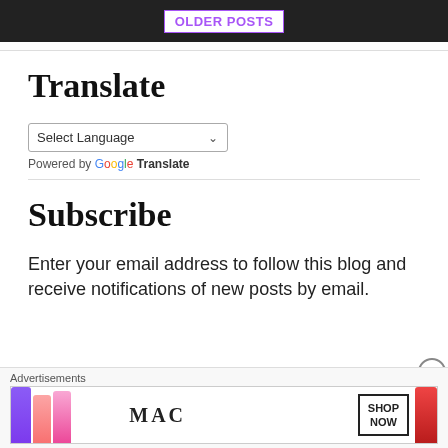OLDER POSTS
Translate
Select Language
Powered by Google Translate
Subscribe
Enter your email address to follow this blog and receive notifications of new posts by email.
[Figure (photo): MAC cosmetics advertisement banner showing lipsticks and SHOP NOW button]
Advertisements